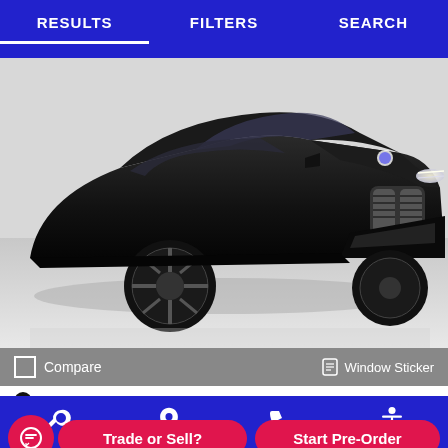RESULTS  FILTERS  SEARCH
[Figure (photo): Black BMW X3 SUV photographed from a front three-quarter angle in a showroom with white flooring. The vehicle is dark carbon black metallic color with chrome kidney grille and LED headlights.]
Compare  Window Sticker
Ext: Carbon Black Metallic
Int: Mocha
Trade or Sell?  Start Pre-Order